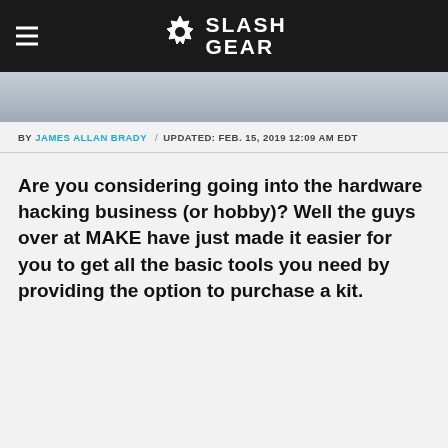SlashGear
[Figure (photo): Partial hero image of a desk/workshop scene, cropped at top]
BY JAMES ALLAN BRADY / UPDATED: FEB. 15, 2019 12:09 AM EDT
Are you considering going into the hardware hacking business (or hobby)? Well the guys over at MAKE have just made it easier for you to get all the basic tools you need by providing the option to purchase a kit.